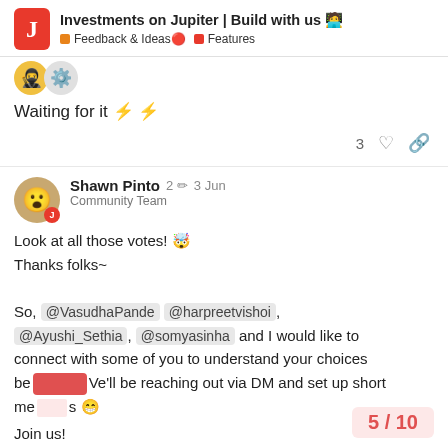Investments on Jupiter | Build with us 🧑‍💻 | Feedback & Ideas🔴 Features
Waiting for it ⚡ ⚡
3 ♡ 🔗
Shawn Pinto Community Team 2 ✏ 3 Jun
Look at all those votes! 🤯
Thanks folks~

So, @VasudhaPande @harpreetvishoi, @Ayushi_Sethia, @somyasinha and I would like to connect with some of you to understand your choices be... We'll be reaching out via DM and set up short me...gs 😁

Join us!
5 / 10